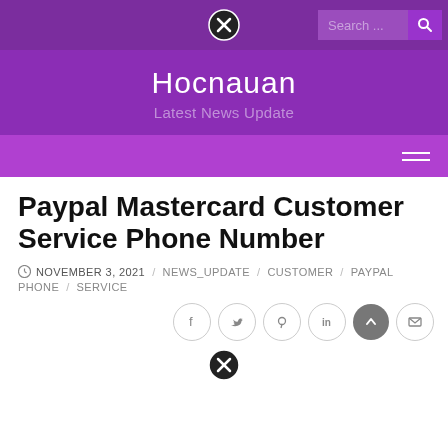[Figure (screenshot): Website header with purple background showing Hocnauan site name and search bar with close button]
Hocnauan
Latest News Update
Paypal Mastercard Customer Service Phone Number
NOVEMBER 3, 2021  NEWS_UPDATE  CUSTOMER  PAYPAL  PHONE  SERVICE
[Figure (screenshot): Social share icons: Facebook, Twitter, Pinterest, LinkedIn, Email, and a back-to-top button]